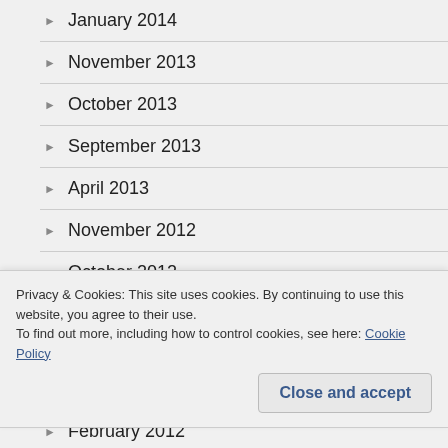January 2014
November 2013
October 2013
September 2013
April 2013
November 2012
October 2012
September 2012
Privacy & Cookies: This site uses cookies. By continuing to use this website, you agree to their use. To find out more, including how to control cookies, see here: Cookie Policy
February 2012